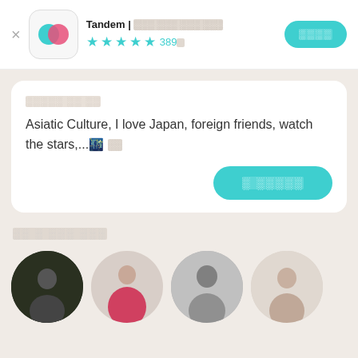Tandem | 언어 교환 파트너 찾기 ★★★★½ 389천
관심사와 취미 공유
Asiatic Culture, I love Japan, foreign friends, watch the stars,...🌃 더보기
메 시지하기
이 앱 을 좋아할 사람들
[Figure (photo): Four circular profile photos of app users]